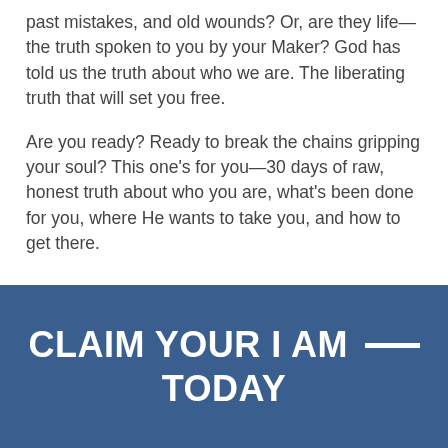past mistakes, and old wounds? Or, are they life—the truth spoken to you by your Maker? God has told us the truth about who we are. The liberating truth that will set you free.
Are you ready? Ready to break the chains gripping your soul? This one's for you—30 days of raw, honest truth about who you are, what's been done for you, where He wants to take you, and how to get there.
CLAIM YOUR I AM ___ TODAY